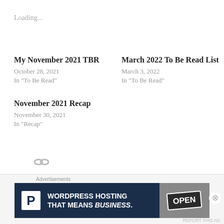Loading...
My November 2021 TBR
October 28, 2021
In "To Be Read"
March 2022 To Be Read List
March 3, 2022
In "To Be Read"
November 2021 Recap
November 30, 2021
In "Recap"
[Figure (other): Chain/link icon]
Advertisements
[Figure (other): WordPress Hosting advertisement banner showing 'WORDPRESS HOSTING THAT MEANS BUSINESS.' with an OPEN sign photo]